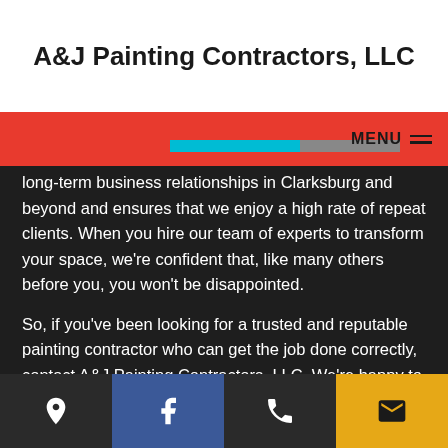A&J Painting Contractors, LLC
long-term business relationships in Clarksburg and beyond and ensures that we enjoy a high rate of repeat clients. When you hire our team of experts to transform your space, we're confident that, like many others before you, you won't be disappointed.
So, if you've been looking for a trusted and reputable painting contractor who can get the job done correctly, contact A&J Painting Contractors, LLC. We're happy to offer you a risk-free quote over the phone when you call (240) 793-0406.